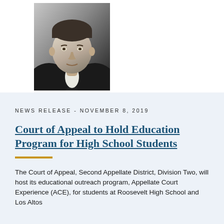[Figure (photo): Black and white headshot portrait of a person in formal attire (dark suit, white shirt)]
NEWS RELEASE - NOVEMBER 8, 2019
Court of Appeal to Hold Education Program for High School Students
The Court of Appeal, Second Appellate District, Division Two, will host its educational outreach program, Appellate Court Experience (ACE), for students at Roosevelt High School and Los Altos